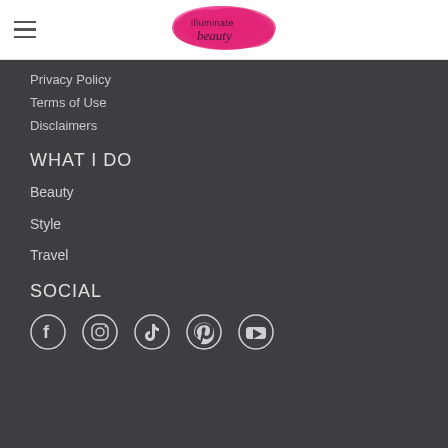[Figure (logo): Illuminate Beauty logo - pink watercolor splash with text 'illuminate beauty' in script font]
Privacy Policy
Terms of Use
Disclaimers
WHAT I DO
Beauty
Style
Travel
SOCIAL
[Figure (illustration): Social media icons: Facebook, Instagram, TikTok, Pinterest, YouTube]